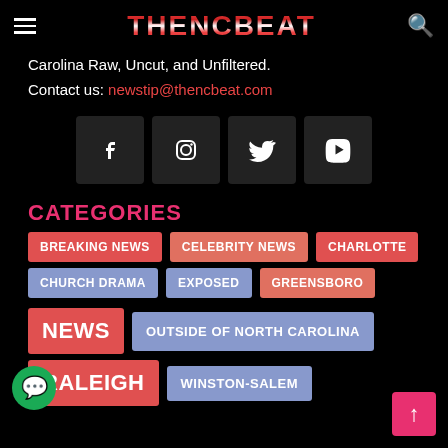THENCBEAT
Carolina Raw, Uncut, and Unfiltered.
Contact us: newstip@thencbeat.com
[Figure (other): Social media icons: Facebook, Instagram, Twitter, YouTube]
CATEGORIES
BREAKING NEWS
CELEBRITY NEWS
CHARLOTTE
CHURCH DRAMA
EXPOSED
GREENSBORO
NEWS
OUTSIDE OF NORTH CAROLINA
RALEIGH
WINSTON-SALEM